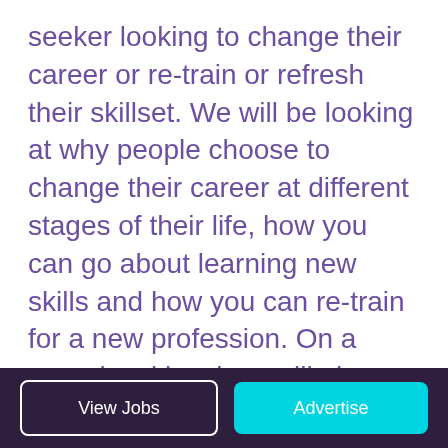seeker looking to change their career or re-train or refresh their skillset. We will be looking at why people choose to change their career at different stages of their life, how you can go about learning new skills and how you can re-train for a new profession. On a more local level we will also look at what resources are available in your area to assist in a more specific job search where you may not be immediately qualified.
View Jobs | Advertise